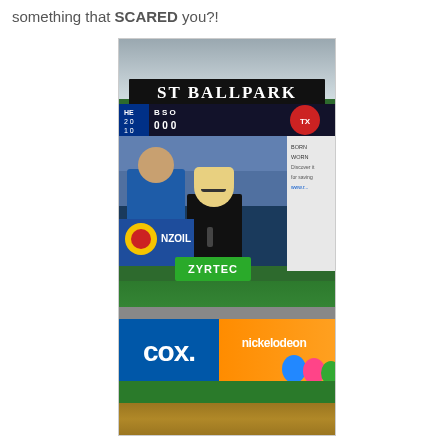something that SCARED you?!
[Figure (photo): Photo of a baseball ballpark scoreboard/jumbotron showing a reporter being interviewed on the big screen. The scoreboard sign reads 'BALLPARK' at the top. Ads visible include Pennzoil, Zyrtec, Cox, and Nickelodeon. The outfield wall is visible with Cox and Nickelodeon sponsorship banners.]